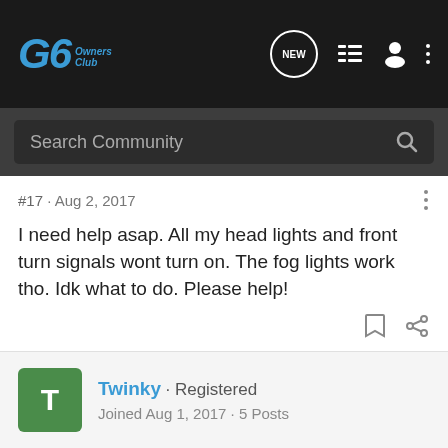G6 Owners Club
Search Community
#17 · Aug 2, 2017
I need help asap. All my head lights and front turn signals wont turn on. The fog lights work tho. Idk what to do. Please help!
Twinky · Registered
Joined Aug 1, 2017 · 5 Posts
#18 · Aug 2, 2017